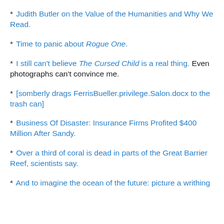* Judith Butler on the Value of the Humanities and Why We Read.
* Time to panic about Rogue One.
* I still can't believe The Cursed Child is a real thing. Even photographs can't convince me.
* [somberly drags FerrisBueller.privilege.Salon.docx to the trash can]
* Business Of Disaster: Insurance Firms Profited $400 Million After Sandy.
* Over a third of coral is dead in parts of the Great Barrier Reef, scientists say.
* And to imagine the ocean of the future: picture a writhing